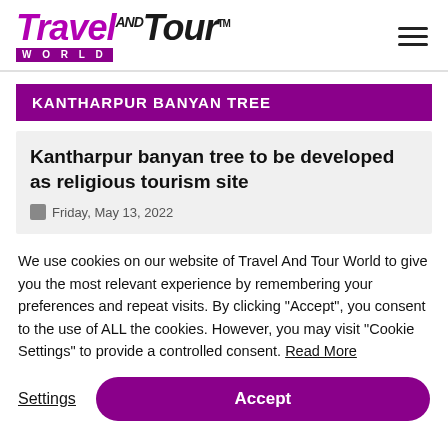Travel AND Tour WORLD
KANTHARPUR BANYAN TREE
Kantharpur banyan tree to be developed as religious tourism site
Friday, May 13, 2022
We use cookies on our website of Travel And Tour World to give you the most relevant experience by remembering your preferences and repeat visits. By clicking “Accept”, you consent to the use of ALL the cookies. However, you may visit "Cookie Settings" to provide a controlled consent. Read More
Settings | Accept